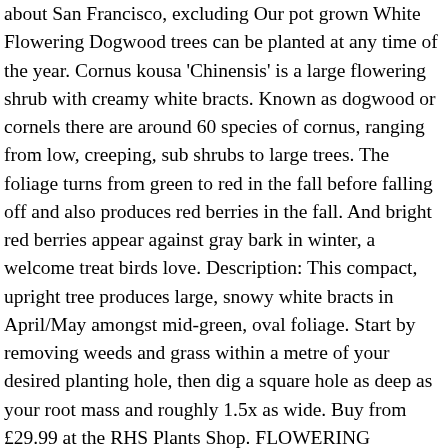about San Francisco, excluding Our pot grown White Flowering Dogwood trees can be planted at any time of the year. Cornus kousa 'Chinensis' is a large flowering shrub with creamy white bracts. Known as dogwood or cornels there are around 60 species of cornus, ranging from low, creeping, sub shrubs to large trees. The foliage turns from green to red in the fall before falling off and also produces red berries in the fall. And bright red berries appear against gray bark in winter, a welcome treat birds love. Description: This compact, upright tree produces large, snowy white bracts in April/May amongst mid-green, oval foliage. Start by removing weeds and grass within a metre of your desired planting hole, then dig a square hole as deep as your root mass and roughly 1.5x as wide. Buy from £29.99 at the RHS Plants Shop. FLOWERING DOGWOODS CORNUS florida 'Cherokee Brave' > Commonly known as: American boxwood, Flowering dogwood. Dogwoods grown for the colour of their stems light up the winter garden. The most amazing Dogwood